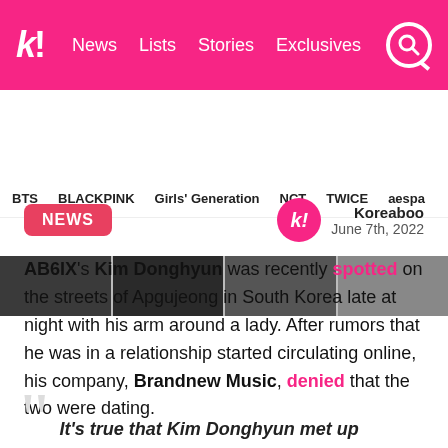k! News Lists Stories Exclusives
BTS BLACKPINK Girls' Generation NCT TWICE aespa
[Figure (photo): Photo strip showing people, partially visible]
NEWS
Koreaboo June 7th, 2022
AB6IX's Kim Donghyun was recently spotted on the streets of Apgujeong in South Korea late at night with his arm around a lady. After rumors that he was in a relationship started circulating online, his company, Brandnew Music, denied that the two were dating.
It's true that Kim Donghyun met up...